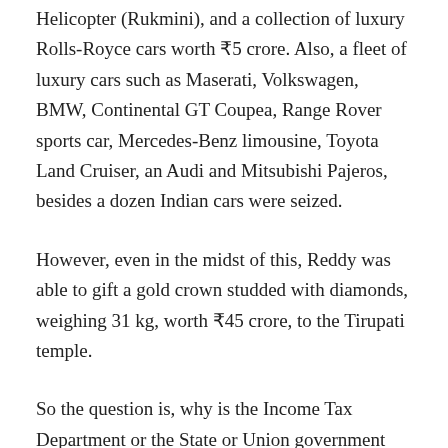Helicopter (Rukmini), and a collection of luxury Rolls-Royce cars worth ₹5 crore. Also, a fleet of luxury cars such as Maserati, Volkswagen, BMW, Continental GT Coupea, Range Rover sports car, Mercedes-Benz limousine, Toyota Land Cruiser, an Audi and Mitsubishi Pajeros, besides a dozen Indian cars were seized.
However, even in the midst of this, Reddy was able to gift a gold crown studded with diamonds, weighing 31 kg, worth ₹45 crore, to the Tirupati temple.
So the question is, why is the Income Tax Department or the State or Union government still mum over the issue, asked